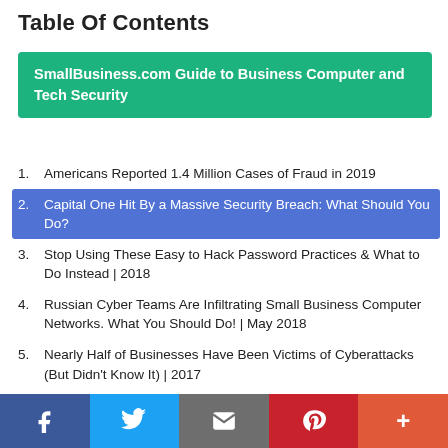Table Of Contents
SmallBusiness.com Guide to Business Computer and Tech Security
Americans Reported 1.4 Million Cases of Fraud in 2019
Capital One Hit By a Massive Security Breach: What Should You Do?
Stop Using These Easy to Hack Password Practices & What to Do Instead | 2018
Russian Cyber Teams Are Infiltrating Small Business Computer Networks. What You Should Do! | May 2018
Nearly Half of Businesses Have Been Victims of Cyberattacks (But Didn't Know It) | 2017
How Does Your Small Business' Cybersecurity Measure Up to
[Figure (infographic): Social sharing bar with Facebook, Twitter, Email, Pinterest, and More (+) buttons]